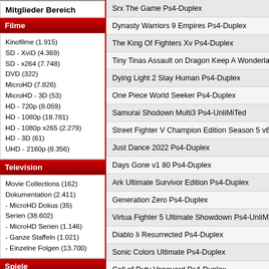Mitglieder Bereich
Filme
Kinofilme (1.915)
SD - XviD (4.369)
SD - x264 (7.748)
DVD (322)
MicroHD (7.826)
MicroHD - 3D (53)
HD - 720p (8.059)
HD - 1080p (18.781)
HD - 1080p x265 (2.279)
HD - 3D (61)
UHD - 2160p (8.356)
Television
Movie Collections (162)
Dokumentation (2.411)
- MicroHD Dokus (35)
Serien (38.602)
- MicroHD Serien (1.146)
- Ganze Staffeln (1.021)
- Einzelne Folgen (13.700)
Spiele
PC (18.890)
- Win (18.767)
Konsolen (83)
- PS4 (67)
- PS5 (11)
- Nintendo Wii (4)
Srx The Game Ps4-Duplex
Dynasty Warriors 9 Empires Ps4-Duplex
The King Of Fighters Xv Ps4-Duplex
Tiny Tinas Assault on Dragon Keep A Wonderlands One
Dying Light 2 Stay Human Ps4-Duplex
One Piece World Seeker Ps4-Duplex
Samurai Shodown Multi3 Ps4-UnliMiTed
Street Fighter V Champion Edition Season 5 v6 060 R
Just Dance 2022 Ps4-Duplex
Days Gone v1 80 Ps4-Duplex
Ark Ultimate Survivor Edition Ps4-Duplex
Generation Zero Ps4-Duplex
Virtua Fighter 5 Ultimate Showdown Ps4-UnliMiTed
Diablo Ii Resurrected Ps4-Duplex
Sonic Colors Ultimate Ps4-Duplex
Call of Duty Vanguard Ps4-Duplex
Agatha Christie Hercule Poirot The First Cases Ps4-D
Chorus Ps4-Duplex
Gear Club Unlimited 2 Ultimate Edition Ps4-Duplex
Who Wants to be a Millionaire Ps4-Duplex
Ty the Tasmanian Tiger Ps4-Duplex